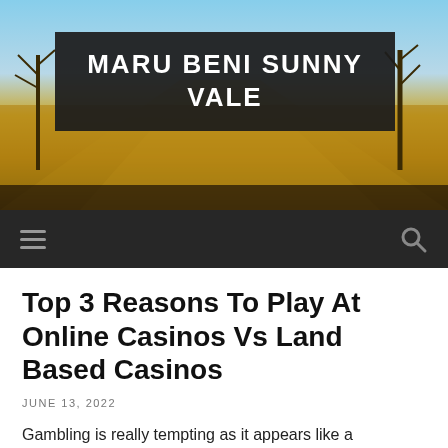[Figure (photo): Outdoor landscape photo with golden field, bare trees, and blue sky in background used as website header image]
MARU BENI SUNNY VALE
[Figure (other): Dark navigation bar with hamburger menu icon on left and search icon on right]
Top 3 Reasons To Play At Online Casinos Vs Land Based Casinos
JUNE 13, 2022
Gambling is really tempting as it appears like a wonderful in order to win Money. Everybody desires to amass wealth from gaming. Unfortunately, some people upwards losing out on everything they own. This is how